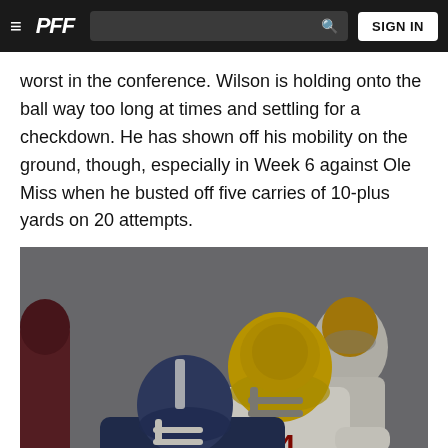PFF — Navigation bar with hamburger menu, PFF logo, search bar, SIGN IN button
worst in the conference. Wilson is holding onto the ball way too long at times and settling for a checkdown. He has shown off his mobility on the ground, though, especially in Week 6 against Ole Miss when he busted off five carries of 10-plus yards on 20 attempts.
[Figure (photo): Football action photo showing a player in a gold helmet (number 34, in white uniform) tackling or sacking a player in a dark navy blue uniform (number 10) who is wearing a blue/navy helmet with a white facemask. A third player in white uniform is visible in the background. The scene appears to be during a college football game.]